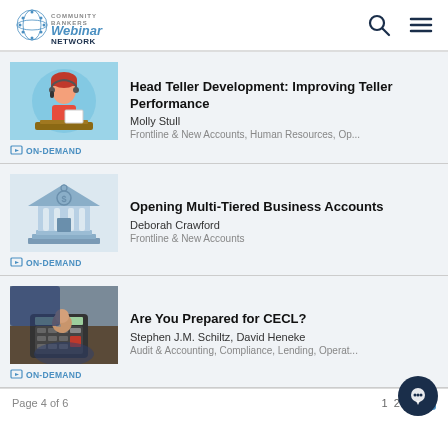Community Bankers Webinar Network
[Figure (illustration): Illustration of a female bank teller at a desk with a phone headset]
Head Teller Development: Improving Teller Performance
Molly Stull
Frontline & New Accounts, Human Resources, Op...
ON-DEMAND
[Figure (illustration): Illustration of a bank building with columns and a dollar sign]
Opening Multi-Tiered Business Accounts
Deborah Crawford
Frontline & New Accounts
ON-DEMAND
[Figure (photo): Photo of a person pressing keys on a calculator]
Are You Prepared for CECL?
Stephen J.M. Schiltz, David Heneke
Audit & Accounting, Compliance, Lending, Operat...
ON-DEMAND
Page 4 of 6    1 2 3 4